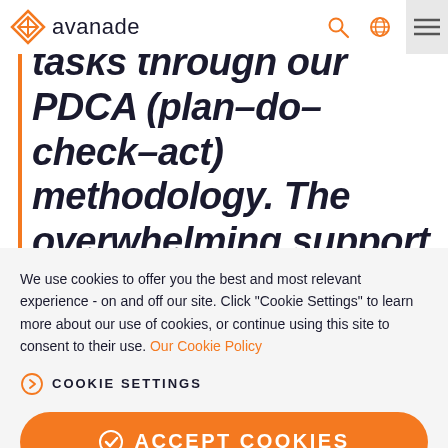avanade
tasks through our PDCA (plan–do–check–act) methodology. The overwhelming support of consumers for our sites in
We use cookies to offer you the best and most relevant experience - on and off our site. Click "Cookie Settings" to learn more about our use of cookies, or continue using this site to consent to their use. Our Cookie Policy
COOKIE SETTINGS
ACCEPT COOKIES